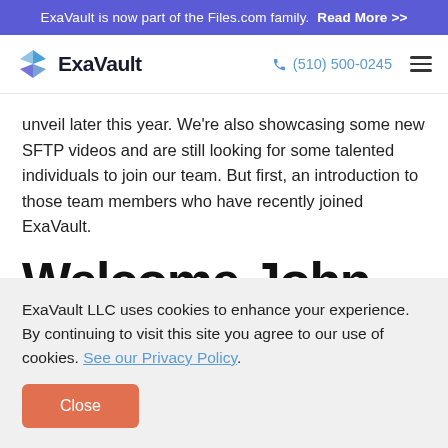ExaVault is now part of the Files.com family. Read More >>
ExaVault logo | (510) 500-0245 | menu
unveil later this year. We're also showcasing some new SFTP videos and are still looking for some talented individuals to join our team. But first, an introduction to those team members who have recently joined ExaVault.
Welcome John,
ExaVault LLC uses cookies to enhance your experience. By continuing to visit this site you agree to our use of cookies. See our Privacy Policy.
Close